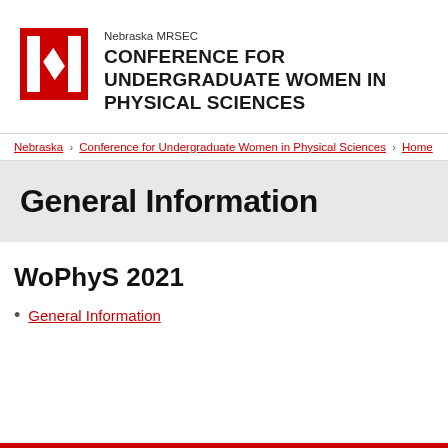COVID-19
[Figure (logo): University of Nebraska red N logo]
Nebraska MRSEC
CONFERENCE FOR UNDERGRADUATE WOMEN IN PHYSICAL SCIENCES
Nebraska › Conference for Undergraduate Women in Physical Sciences › Home
General Information
WoPhyS 2021
General Information